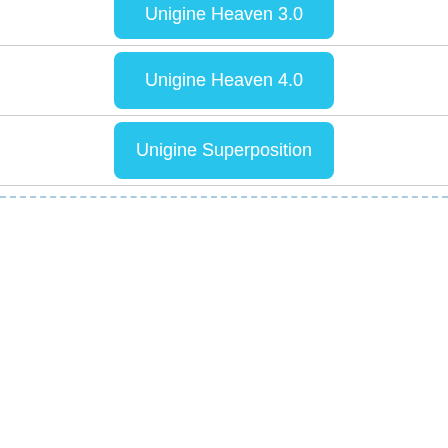Unigine Heaven 3.0
Unigine Heaven 4.0
Unigine Superposition